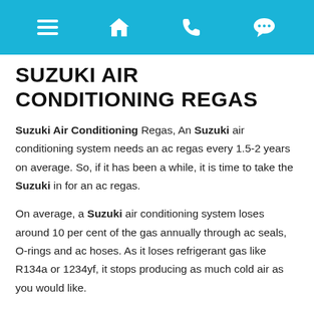[navigation bar with menu, home, phone, chat icons]
SUZUKI AIR CONDITIONING REGAS
Suzuki Air Conditioning Regas, An Suzuki air conditioning system needs an ac regas every 1.5-2 years on average. So, if it has been a while, it is time to take the Suzuki in for an ac regas.
On average, a Suzuki air conditioning system loses around 10 per cent of the gas annually through ac seals, O-rings and ac hoses. As it loses refrigerant gas like R134a or 1234yf, it stops producing as much cold air as you would like.